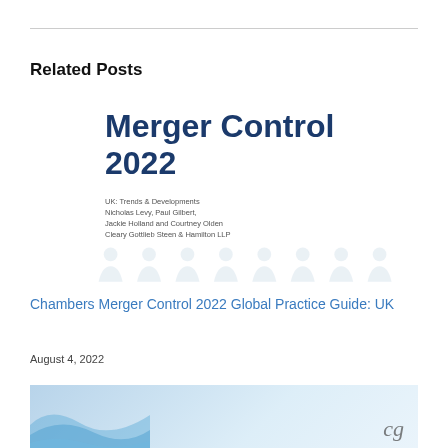Related Posts
[Figure (illustration): Book cover thumbnail for Chambers Merger Control 2022 Global Practice Guide showing title 'Merger Control 2022' with subtitle 'UK: Trends & Developments, Nicholas Levy, Paul Gilbert, Jackie Holland and Courtney Olden, Cleary Gottlieb Steen & Hamilton LLP' and faint watermark of person silhouettes]
Chambers Merger Control 2022 Global Practice Guide: UK
August 4, 2022
[Figure (illustration): Partial view of a second card with light blue gradient background and wave shapes on the left, and a cursive logo mark on the right]